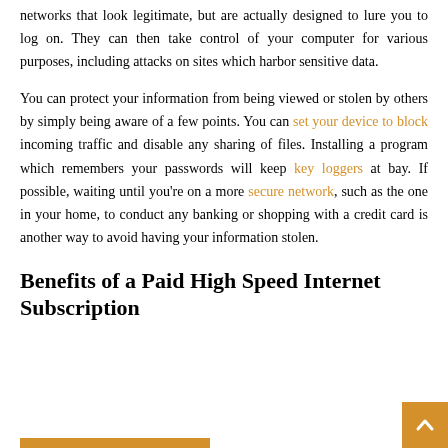networks that look legitimate, but are actually designed to lure you to log on. They can then take control of your computer for various purposes, including attacks on sites which harbor sensitive data.
You can protect your information from being viewed or stolen by others by simply being aware of a few points. You can set your device to block incoming traffic and disable any sharing of files. Installing a program which remembers your passwords will keep key loggers at bay. If possible, waiting until you're on a more secure network, such as the one in your home, to conduct any banking or shopping with a credit card is another way to avoid having your information stolen.
Benefits of a Paid High Speed Internet Subscription